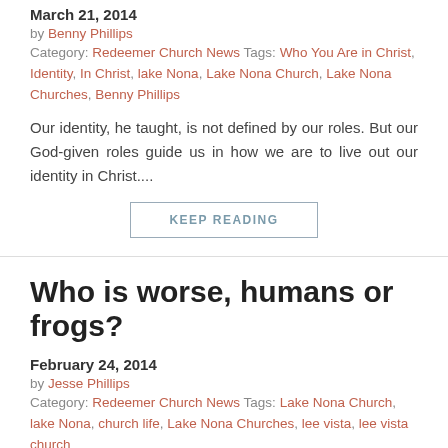March 21, 2014
by Benny Phillips
Category: Redeemer Church News Tags: Who You Are in Christ, Identity, In Christ, lake Nona, Lake Nona Church, Lake Nona Churches, Benny Phillips
Our identity, he taught, is not defined by our roles. But our God-given roles guide us in how we are to live out our identity in Christ....
KEEP READING
Who is worse, humans or frogs?
February 24, 2014
by Jesse Phillips
Category: Redeemer Church News Tags: Lake Nona Church, lake Nona, church life, Lake Nona Churches, lee vista, lee vista church